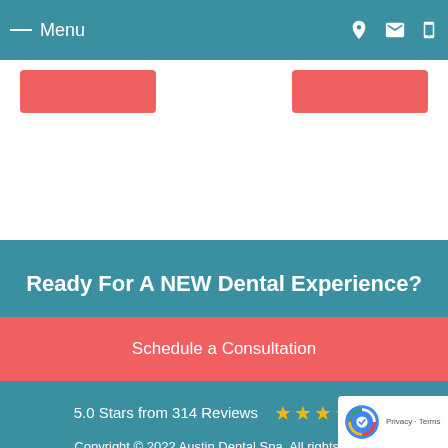Menu
Ready For A NEW Dental Experience?
Schedule a Consultation
5.0 Stars from 314 Reviews ★★★★★
Copyright © 2022 Austin Dental Spa. All rights reserved. | Privacy Policy | Sitemap | Dentistry in Nearby Cities